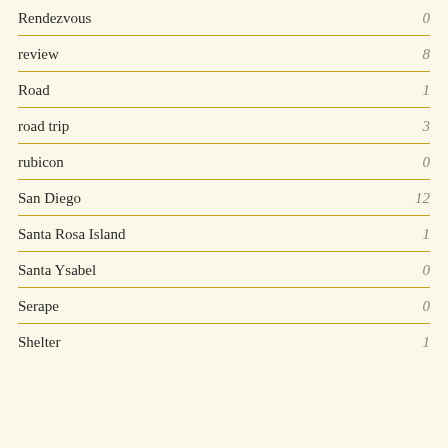Rendezvous  0
review  8
Road  1
road trip  3
rubicon  0
San Diego  12
Santa Rosa Island  1
Santa Ysabel  0
Serape  0
Shelter  1